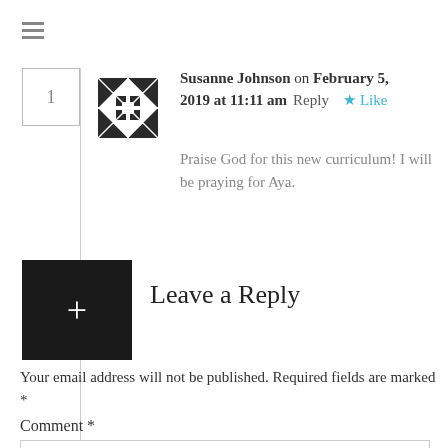[Figure (other): Hamburger menu icon (three horizontal lines)]
1
[Figure (illustration): Decorative quilt-pattern avatar icon in black and white]
Susanne Johnson on February 5, 2019 at 11:11 am   Reply  ★ Like
Praise God for this new curriculum! I will be praying for Aya.
+ Leave a Reply
Your email address will not be published. Required fields are marked *
Comment *